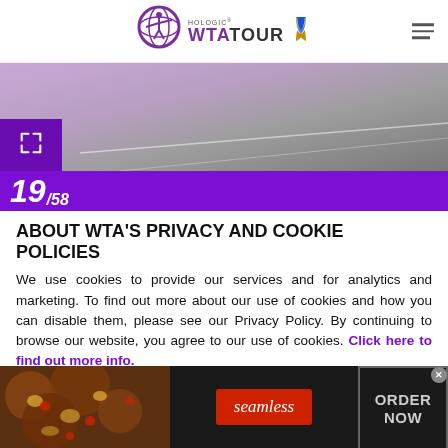Hologic WTA Tour — navigation header with logo and hamburger menu
[Figure (screenshot): Hero image of a tennis court with purple/grey tones and an expand button overlay]
19/58
ABOUT WTA'S PRIVACY AND COOKIE POLICIES
We use cookies to provide our services and for analytics and marketing. To find out more about our use of cookies and how you can disable them, please see our Privacy Policy. By continuing to browse our website, you agree to our use of cookies. Click here to find out more info.
[Figure (photo): Seamless food delivery advertisement banner with pizza image, Seamless logo, and ORDER NOW button]